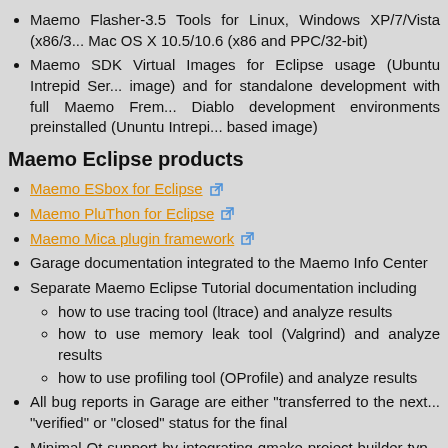Maemo Flasher-3.5 Tools for Linux, Windows XP/7/Vista (x86/... Mac OS X 10.5/10.6 (x86 and PPC/32-bit)
Maemo SDK Virtual Images for Eclipse usage (Ubuntu Intrepid Ser... image) and for standalone development with full Maemo Frem... Diablo development environments preinstalled (Ununtu Intrepi... based image)
Maemo Eclipse products
Maemo ESbox for Eclipse
Maemo PluThon for Eclipse
Maemo Mica plugin framework
Garage documentation integrated to the Maemo Info Center
Separate Maemo Eclipse Tutorial documentation including
how to use tracing tool (ltrace) and analyze results
how to use memory leak tool (Valgrind) and analyze results
how to use profiling tool (OProfile) and analyze results
All bug reports in Garage are either "transferred to the next... "verified" or "closed" status for the final
Minimal Qt support by integrating qmake project builder typ... documentation
Wizard to create new Maemo Eclipse project from existing Qt...